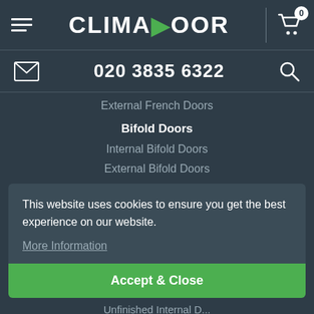CLIMADOOR
020 3835 6322
External French Doors
Bifold Doors
Internal Bifold Doors
External Bifold Doors
This website uses cookies to ensure you get the best experience on our website. More Information
Accept & Close